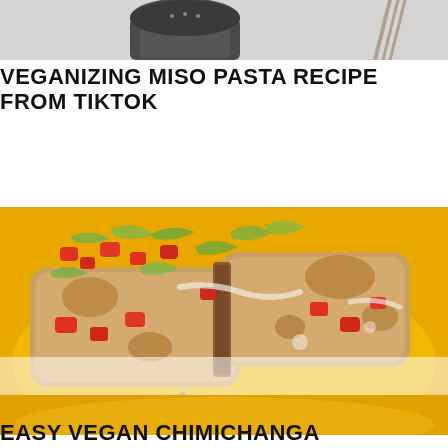[Figure (photo): Top portion of a food photo showing a spice jar with black pepper and a fork on a light gray surface]
VEGANIZING MISO PASTA RECIPE FROM TIKTOK
[Figure (photo): Crispy baked chimichanga cut in half on a yellow plate, topped with diced tomatoes, shredded lettuce, and white sauce]
[Figure (photo): Bottom edge of chimichanga photo with semi-transparent white overlay, and start of another food photo below]
EASY VEGAN CHIMICHANGA